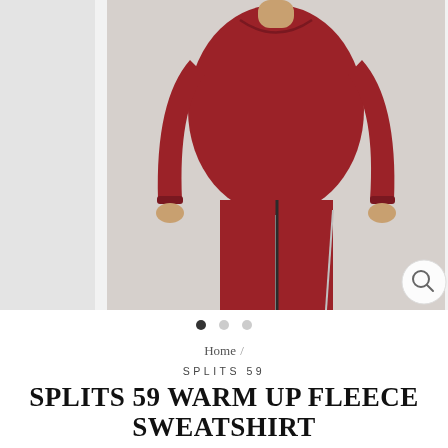[Figure (photo): Product photo of a person wearing a dark red/maroon sweatshirt and matching pants, shown from neck to knees against a light background. A zoom icon appears in the bottom right corner.]
Home /
SPLITS 59
SPLITS 59 WARM UP FLEECE SWEATSHIRT
$ 118.00
Shipping calculated at checkout.